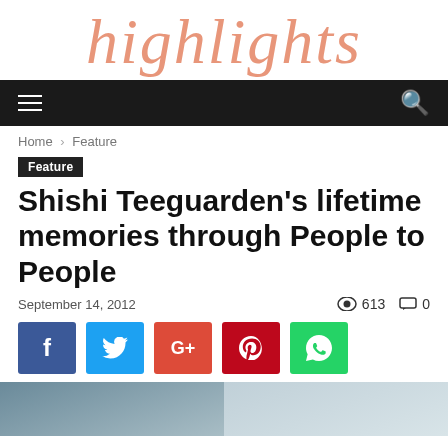highlights
Home › Feature
Feature
Shishi Teeguarden's lifetime memories through People to People
September 14, 2012  👁 613  💬 0
[Figure (other): Social share buttons: Facebook, Twitter, Google+, Pinterest, WhatsApp]
[Figure (photo): Article header photo showing mountainous landscape with a person]